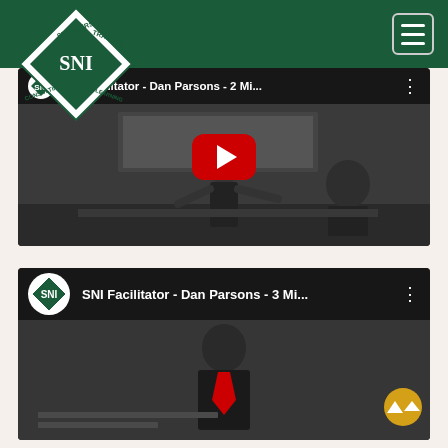SNI - Speakers Training Institute navigation header with logo and hamburger menu
[Figure (screenshot): YouTube embedded video thumbnail: SNI Facilitator - Dan Parsons - 2 Mi... with play button overlay showing a presenter in a dark training room]
[Figure (screenshot): YouTube embedded video thumbnail: SNI Facilitator - Dan Parsons - 3 Mi... showing channel icon and partial video frame of presenter]